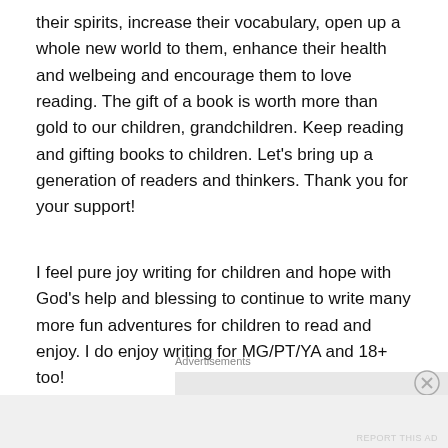their spirits, increase their vocabulary, open up a whole new world to them, enhance their health and welbeing and encourage them to love reading. The gift of a book is worth more than gold to our children, grandchildren. Keep reading and gifting books to children. Let's bring up a generation of readers and thinkers. Thank you for your support!
I feel pure joy writing for children and hope with God's help and blessing to continue to write many more fun adventures for children to read and enjoy. I do enjoy writing for MG/PT/YA and 18+ too!
Advertisements
Advertisements